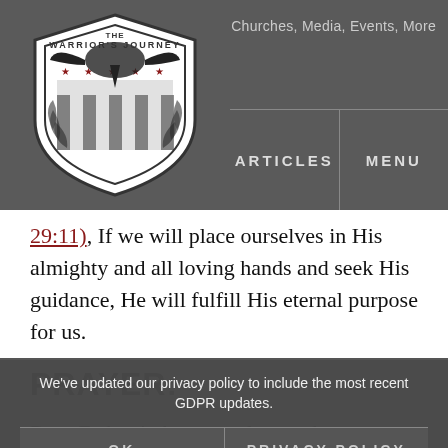Churches, Media, Events, More | ARTICLES | MENU
29:11), If we will place ourselves in His almighty and all loving hands and seek His guidance, He will fulfill His eternal purpose for us.
PRAYER:
Dear Father in heaven, please take my dreams, my goals, my future, and my whole being. Make me into the person Your created me to be and fulfill Your will for my life. Amen.
We've updated our privacy policy to include the most recent GDPR updates.
OK
PRIVACY POLICY